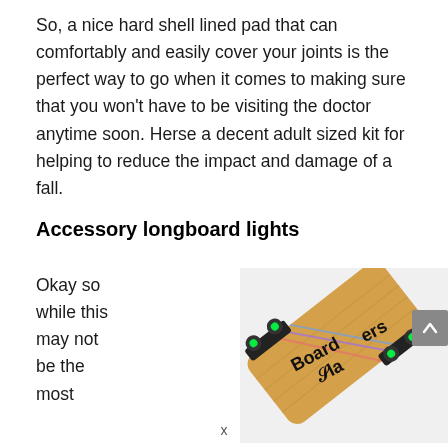So, a nice hard shell lined pad that can comfortably and easily cover your joints is the perfect way to go when it comes to making sure that you won't have to be visiting the doctor anytime soon. Herse a decent adult sized kit for helping to reduce the impact and damage of a fall.
Accessory longboard lights
Okay so while this may not be the most
[Figure (photo): A skateboard (longboard) viewed at an angle showing the underside with green LED lights on the trucks, with 'Boarders' branding text visible on the deck. A grey scroll-to-top button is visible in the upper right.]
x